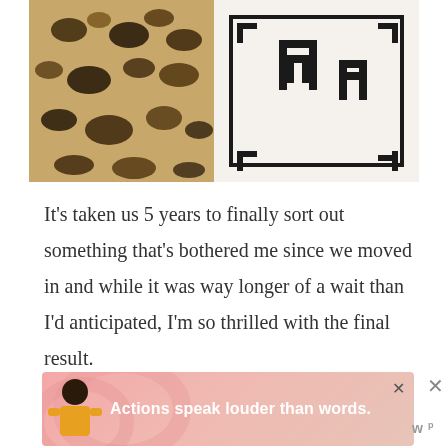[Figure (photo): Close-up photo of decorative bed pillows: a leopard print cylindrical bolster pillow on the left, and a white pillow with black geometric/key pattern on the right, on white bedding.]
It's taken us 5 years to finally sort out something that's bothered me since we moved in and while it was way longer of a wait than I'd anticipated, I'm so thrilled with the final result.
[Figure (screenshot): Advertisement banner with pink/coral background. Shows a figure of a person on the left side. Text reads 'Actions speak louder than words.' in bold white. Has a close (X) button. WP logo at bottom right.]